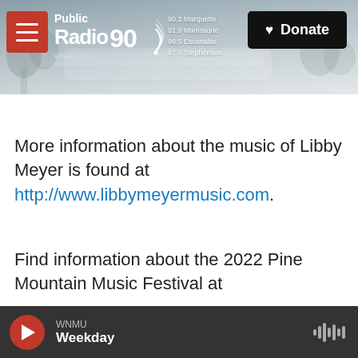[Figure (screenshot): Public Radio 90 WNMU website header banner with misty tree/lake background, hamburger menu icon, station logo, frequencies list, and Donate button]
More information about the music of Libby Meyer is found at http://www.libbymeyermusic.com.
Find information about the 2022 Pine Mountain Music Festival at
WNMU  Weekday